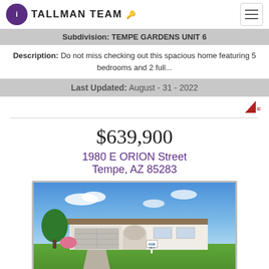TALLMAN TEAM
Subdivision: TEMPE GARDENS UNIT 6
Description: Do not miss checking out this spacious home featuring 5 bedrooms and 2 full...
Last Updated: August - 31 - 2022
$639,900
1980 E ORION Street
Tempe, AZ 85283
[Figure (photo): Exterior photo of a single-story white ranch-style home with a two-car garage, arched entry, green lawn, and blue sky at 1980 E ORION Street, Tempe, AZ 85283]